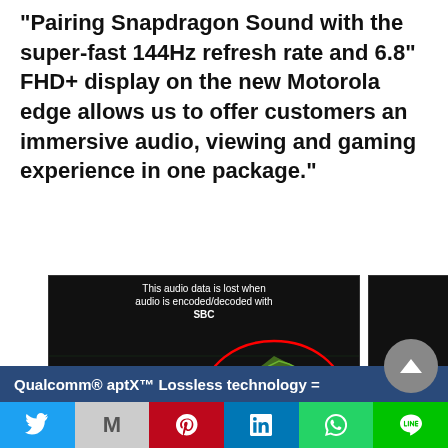"Pairing Snapdragon Sound with the super-fast 144Hz refresh rate and 6.8" FHD+ display on the new Motorola edge allows us to offer customers an immersive audio, viewing and gaming experience in one package."
[Figure (screenshot): Three side-by-side frequency response screenshots showing audio data loss comparison: 1) SBC @ 44.1kHz with red ellipse showing lost audio data (green waveform present), 2) aptX Adaptive @ 44.1kHz (mostly dark with small red circle), 3) aptX Lossless @ 44.1kHz (clean dark screen, no data loss)]
SBC @ 44.1kHz
aptX Adaptive @ 44.1kHz
aptX Lossless @ 44.1kHz
Qualcomm® aptX™ Lossless technology =
Social share bar: Twitter, Gmail, Pinterest, LinkedIn, WhatsApp, LINE